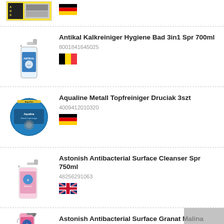[Figure (photo): Partial product listing at top - yellow/black product with German flag]
[Figure (photo): Antikal spray bottle product image]
Antikal Kalkreiniger Hygiene Bad 3in1 Spr 700ml
8001841645025
[Figure (photo): Belgian flag icon]
[Figure (photo): Aqualine metal pot scrubber product image]
Aqualine Metall Topfreiniger Druciak 3szt
4009412010320
[Figure (photo): German flag icon]
[Figure (photo): Astonish pink spray bottle product image]
Astonish Antibacterial Surface Cleanser Spr 750ml
48256291063
[Figure (photo): UK flag icon]
[Figure (photo): Astonish pink spray bottle product image - bottom partial]
Astonish Antibacterial Surface Granat Malina 750ml
5060060212510